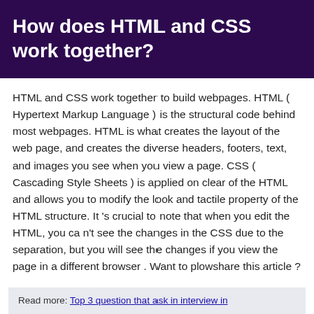How does HTML and CSS work together?
HTML and CSS work together to build webpages. HTML ( Hypertext Markup Language ) is the structural code behind most webpages. HTML is what creates the layout of the web page, and creates the diverse headers, footers, text, and images you see when you view a page. CSS ( Cascading Style Sheets ) is applied on clear of the HTML and allows you to modify the look and tactile property of the HTML structure. It 's crucial to note that when you edit the HTML, you ca n't see the changes in the CSS due to the separation, but you will see the changes if you view the page in a different browser . Want to plowshare this article ?
Read more: Top 3 question that ask in interview in...